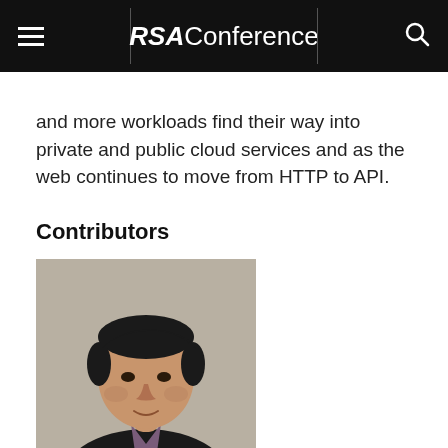RSAConference
and more workloads find their way into private and public cloud services and as the web continues to move from HTTP to API.
Contributors
[Figure (photo): Headshot of a man in a dark blazer and plaid shirt, with dark hair, smiling slightly, against a neutral gray background.]